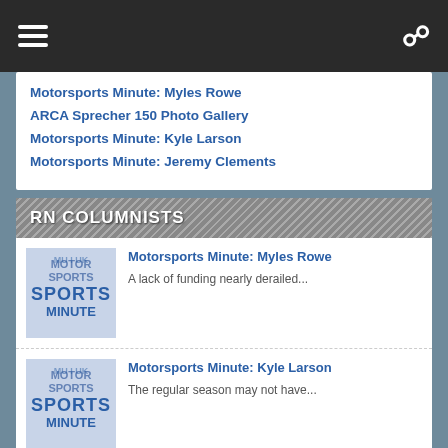Navigation bar with hamburger menu and search icon
Motorsports Minute: Myles Rowe
ARCA Sprecher 150 Photo Gallery
Motorsports Minute: Kyle Larson
Motorsports Minute: Jeremy Clements
RN COLUMNISTS
[Figure (logo): Motorsports Minute logo with stacked text in blue]
Motorsports Minute: Myles Rowe
A lack of funding nearly derailed...
[Figure (logo): Motorsports Minute logo with stacked text in blue]
Motorsports Minute: Kyle Larson
The regular season may not have...
[Figure (logo): Motorsports Minute logo with stacked text in blue]
Motorsports Minute: Jeremy Clements
Jeremy Clements had tasted victory in...